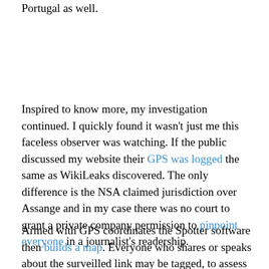Portugal as well.
Inspired to know more, my investigation continued. I quickly found it wasn't just me this faceless observer was watching. If the public discussed my website their GPS was logged the same as WikiLeaks discovered. The only difference is the NSA claimed jurisdiction over Assange and in my case there was no court to grant a private company permission to pinpoint everyone in a journalist's readership.
Armed with GPS coordinates the Spotter software then builds a map. Everyone who shares or speaks about the surveilled link may be tagged, to assess my reach as a